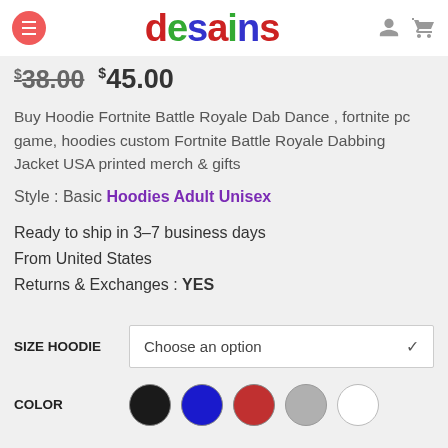desains
$38.00  $45.00
Buy Hoodie Fortnite Battle Royale Dab Dance , fortnite pc game, hoodies custom Fortnite Battle Royale Dabbing Jacket USA printed merch & gifts
Style : Basic Hoodies Adult Unisex
Ready to ship in 3–7 business days
From United States
Returns & Exchanges :  YES
SIZE HOODIE  Choose an option
COLOR